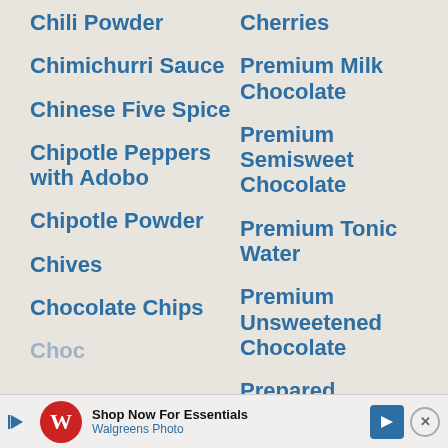Chili Powder
Chimichurri Sauce
Chinese Five Spice
Chipotle Peppers with Adobo
Chipotle Powder
Chives
Chocolate Chips
Cherries
Premium Milk Chocolate
Premium Semisweet Chocolate
Premium Tonic Water
Premium Unsweetened Chocolate
Prepared
[Figure (other): Walgreens Photo advertisement banner with logo, 'Shop Now For Essentials' text, navigation arrow icon, and close button]